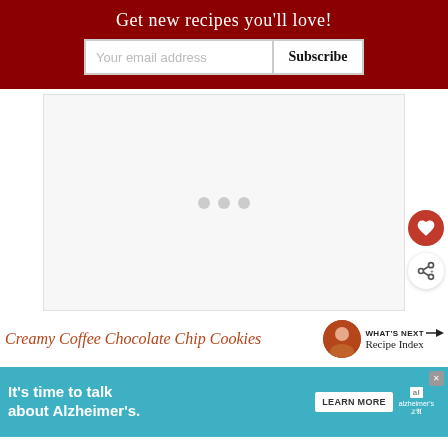Get new recipes you'll love!
Your email address
Subscribe
[Figure (other): Ad placeholder area with three gray dots loading indicator, heart favorite button, and share button]
WHAT'S NEXT → Recipe Index
Creamy Coffee Chocolate Chip Cookies
[Figure (infographic): Advertisement: It's time to talk about Alzheimer's. Learn More button with Alzheimer's Association logo and close button]